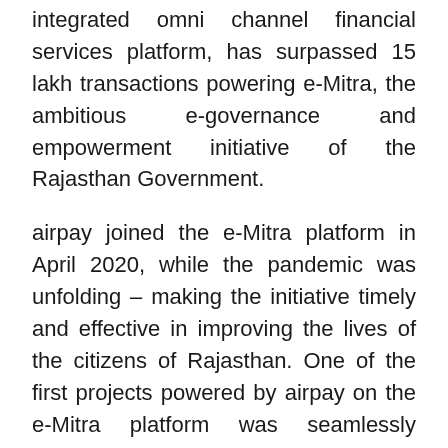integrated omni channel financial services platform, has surpassed 15 lakh transactions powering e-Mitra, the ambitious e-governance and empowerment initiative of the Rajasthan Government.
airpay joined the e-Mitra platform in April 2020, while the pandemic was unfolding – making the initiative timely and effective in improving the lives of the citizens of Rajasthan. One of the first projects powered by airpay on the e-Mitra platform was seamlessly facilitating zero convenience fee-led contributions to the Chief Minister Covid Relief Fund. Owing to its payment collections technology, airpay enabled Rajasthan Government to connect more than 100 state departments to the e-Mitra platform. The